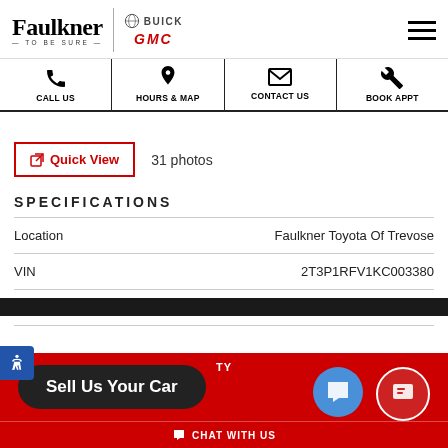Faulkner — TO BE SURE — BUICK GMC
CALL US
HOURS & MAP
CONTACT US
BOOK APPT
Quick View  31 photos
SPECIFICATIONS
|  |  |
| --- | --- |
| Location | Faulkner Toyota Of Trevose |
| VIN | 2T3P1RFV1KC003380 |
| Miles | 48,427 |
Sell Us Your Car
CHAT WITH US